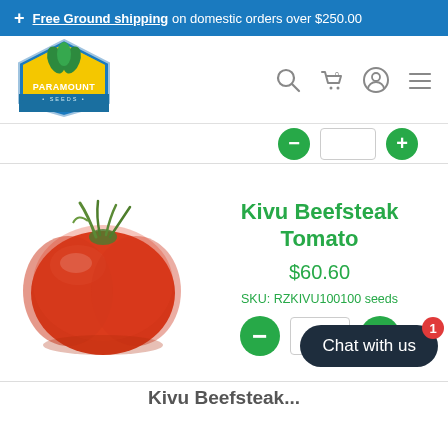+ Free Ground shipping on domestic orders over $250.00
[Figure (logo): Paramount Seeds logo with green plant and yellow banner, hexagon shape with blue border]
[Figure (infographic): Quantity selector partial: minus button, input field with 0, plus button]
[Figure (photo): Red beefsteak tomato product photo on white background]
Kivu Beefsteak Tomato
$60.60
SKU: RZKIVU100100 seeds
[Figure (infographic): Quantity selector: minus button, 0 input field, plus button]
[Figure (infographic): Chat with us button with red badge showing 1]
Kivu Beefsteak...